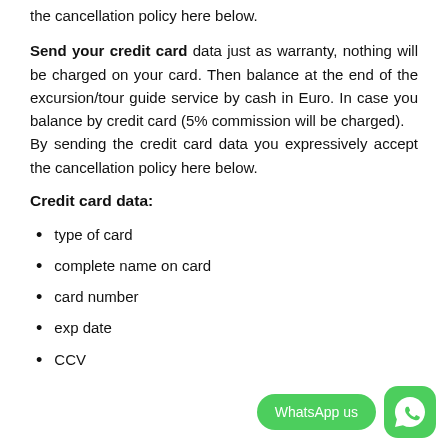the cancellation policy here below.
Send your credit card data just as warranty, nothing will be charged on your card. Then balance at the end of the excursion/tour guide service by cash in Euro. In case you balance by credit card (5% commission will be charged). By sending the credit card data you expressively accept the cancellation policy here below.
Credit card data:
type of card
complete name on card
card number
exp date
CCV